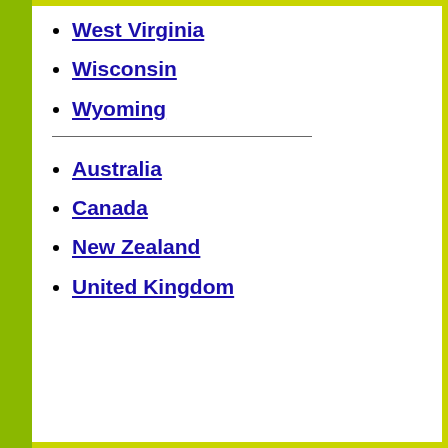West Virginia
Wisconsin
Wyoming
Australia
Canada
New Zealand
United Kingdom